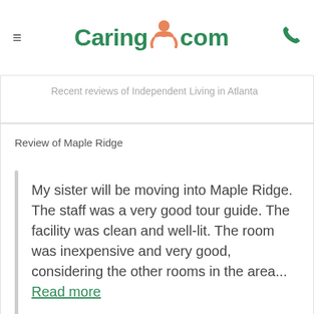Caring.com
Recent reviews of Independent Living in Atlanta
Review of Maple Ridge
My sister will be moving into Maple Ridge. The staff was a very good tour guide. The facility was clean and well-lit. The room was inexpensive and very good, considering the other rooms in the area... Read more
— Lavina
Review of Maple Ridge
My mother has been a resident of Maple